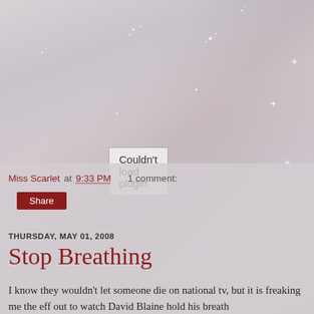[Figure (screenshot): Background image of grey-pink shimmering water or silk surface with scattered white sparkle/star effects]
Couldn't load plugin.
Miss Scarlet at 9:33 PM   1 comment:
Share
THURSDAY, MAY 01, 2008
Stop Breathing
I know they wouldn't let someone die on national tv, but it is freaking me the eff out to watch David Blaine hold his breath